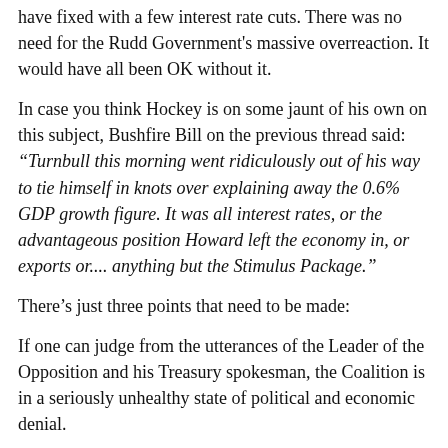have fixed with a few interest rate cuts. There was no need for the Rudd Government's massive overreaction. It would have all been OK without it.
In case you think Hockey is on some jaunt of his own on this subject, Bushfire Bill on the previous thread said: “Turnbull this morning went ridiculously out of his way to tie himself in knots over explaining away the 0.6% GDP growth figure. It was all interest rates, or the advantageous position Howard left the economy in, or exports or.... anything but the Stimulus Package.”
There’s just three points that need to be made:
If one can judge from the utterances of the Leader of the Opposition and his Treasury spokesman, the Coalition is in a seriously unhealthy state of political and economic denial.
We can count ourselves lucky that he Coalition is not in government and hope desperately it will acquire at least a